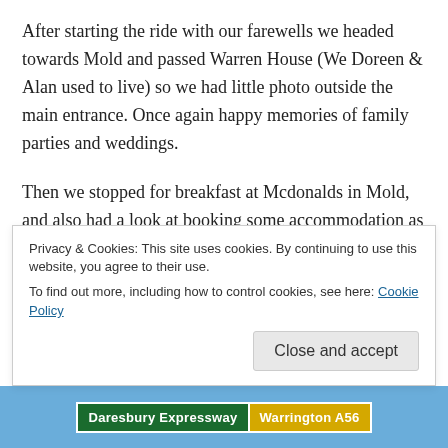After starting the ride with our farewells we headed towards Mold and passed Warren House (We Doreen & Alan used to live) so we had little photo outside the main entrance. Once again happy memories of family parties and weddings.
Then we stopped for breakfast at Mcdonalds in Mold, and also had a look at booking some accommodation as we are meeting Dave's mate Ian later for dinner and few beers.
Privacy & Cookies: This site uses cookies. By continuing to use this website, you agree to their use.
To find out more, including how to control cookies, see here: Cookie Policy
Close and accept
[Figure (photo): Road sign showing 'Daresbury Expressway' in green and 'Warrington A56' in yellow/amber, visible at the bottom of the page against a blue sky background.]